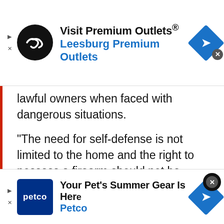[Figure (other): Top advertisement banner: Visit Premium Outlets® Leesburg Premium Outlets with logo circle and navigation arrow]
lawful owners when faced with dangerous situations.
“The need for self-defense is not limited to the home and the right to possess a firearm should not be either,” said General Landry. “From self-defense to hunting, the lawful exercise of our Second Amendment rights should be fully supported.”
[Figure (other): Bottom advertisement banner: Your Pet's Summer Gear Is Here - Petco with logo and navigation arrow]